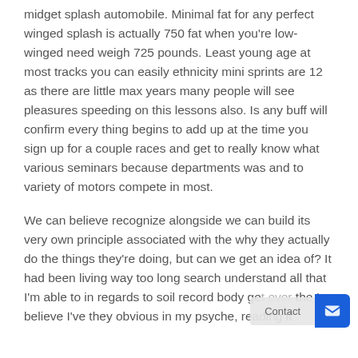midget splash automobile. Minimal fat for any perfect winged splash is actually 750 fat when you're low-winged need weigh 725 pounds. Least young age at most tracks you can easily ethnicity mini sprints are 12 as there are little max years many people will see pleasures speeding on this lessons also. Is any buff will confirm every thing begins to add up at the time you sign up for a couple races and get to really know what various seminars because departments was and to variety of motors compete in most.
We can believe recognize alongside we can build its very own principle associated with the why they actually do the things they're doing, but can we get an idea of? It had been living way too long search understand all that I'm able to in regards to soil record body get every the I believe I've they obvious in my psyche, reading it